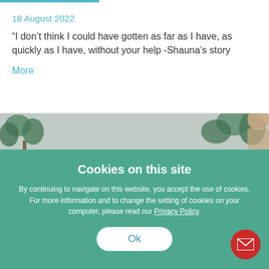18 August 2022
“I don’t think I could have gotten as far as I have, as quickly as I have, without your help -Shauna’s story
More
[Figure (photo): Partial photo of a person with plants visible in the background]
Cookies on this site
By continuing to navigate on this website, you accept the use of cookies. For more information and to change the setting of cookies on your computer, please read our Privacy Policy.
Ok